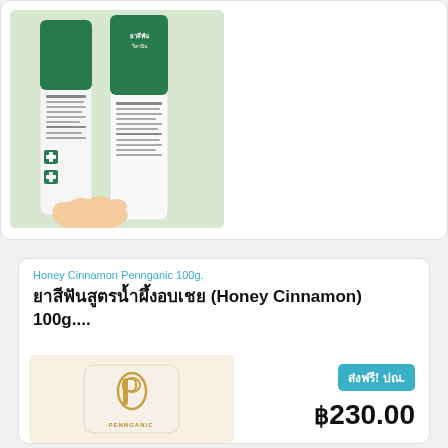[Figure (photo): Hand holding green and white toothpaste tubes, one showing green brand label, product photo for skincare/dental product]
Honey Cinnamon Pennganic 100g.
ยาสีฟันสูตรน้ำผึ้งอบเชย (Honey Cinnamon) 100g....
[Figure (photo): White cream/toothpaste tube with gold logo of Pennganic brand on light background]
ส่งฟรี! ปณ.
฿230.00